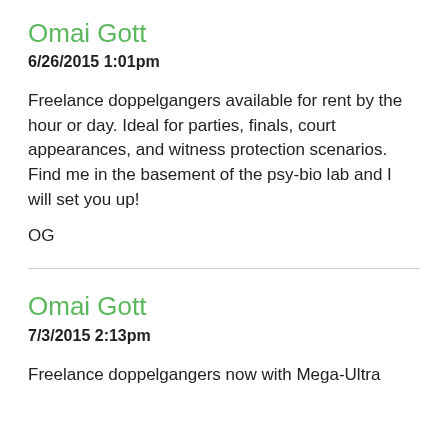Omai Gott
6/26/2015 1:01pm
Freelance doppelgangers available for rent by the hour or day. Ideal for parties, finals, court appearances, and witness protection scenarios. Find me in the basement of the psy-bio lab and I will set you up!
OG
Omai Gott
7/3/2015 2:13pm
Freelance doppelgangers now with Mega-Ultra